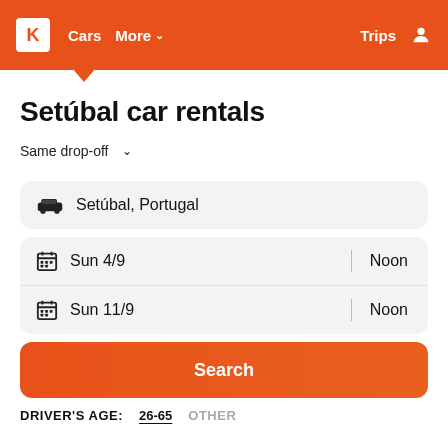K  Cars  More ▾  Trips
Setúbal car rentals
Same drop-off ∨
Setúbal, Portugal
Sun 4/9  |  Noon
Sun 11/9  |  Noon
Search
DRIVER'S AGE:  26-65  OTHER